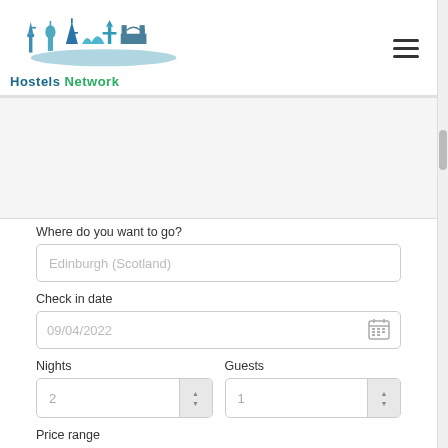[Figure (logo): Hostels Network logo with city skyline silhouette in blue/teal tones]
Where do you want to go?
Edinburgh (Scotland)
Check in date
09/04/2022
Nights
2
Guests
1
Price range
0 €
200 €